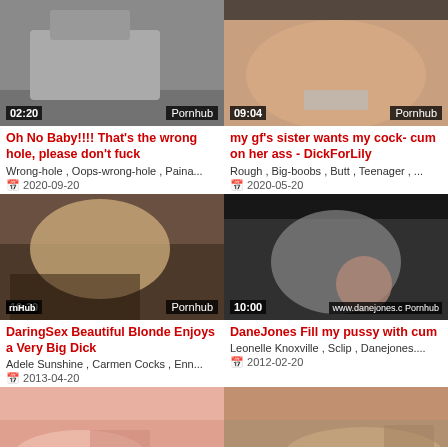[Figure (photo): Video thumbnail 1 with time badge 02:20 and Pornhub watermark]
[Figure (photo): Video thumbnail 2 with time badge 09:04 and Pornhub watermark]
Oh No Baby!!!! That's the wrong hole, please don't fuck
my gf's sister wants my cock- cum on her ass - DickForLily
Wrong-hole , Oops-wrong-hole , Paina...
Rough , Big-boobs , Butt , Teenager , ...
2020-09-20
2020-05-20
[Figure (photo): Video thumbnail 3 with time badge 10:30, rnHub logo, and Pornhub watermark]
[Figure (photo): Video thumbnail 4 with time badge 10:00, danejones.com and Pornhub watermark]
DaringSex Beautiful Blonde Enjoys a Very Big Dick
DaneJones Fill my pussy with cum
Adele Sunshine , Carmen Cocks , Enn...
Leonelle Knoxville , Sclip , Danejones....
2013-04-20
2012-02-20
[Figure (photo): Video thumbnail 5, partially visible at bottom left]
[Figure (photo): Video thumbnail 6, partially visible at bottom right]